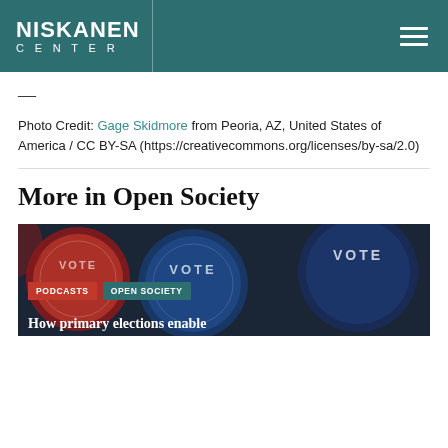NISKANEN CENTER
—
Photo Credit: Gage Skidmore from Peoria, AZ, United States of America / CC BY-SA (https://creativecommons.org/licenses/by-sa/2.0)
More in Open Society
[Figure (photo): Voting buttons/pins with VOTE text, red white and blue colors, with PODCASTS and OPEN SOCIETY category badges and partial headline 'How primary elections enable']